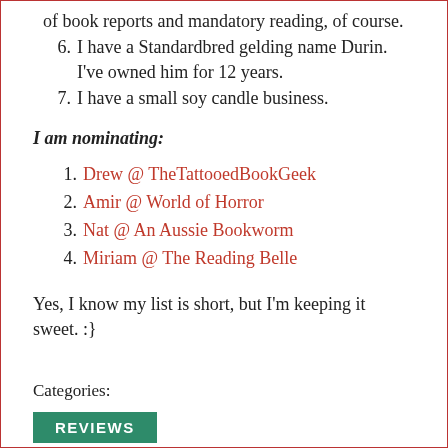of book reports and mandatory reading, of course.
6. I have a Standardbred gelding name Durin. I've owned him for 12 years.
7. I have a small soy candle business.
I am nominating:
1. Drew @ TheTattooedBookGeek
2. Amir @ World of Horror
3. Nat @ An Aussie Bookworm
4. Miriam @ The Reading Belle
Yes, I know my list is short, but I'm keeping it sweet. :}
Categories:
REVIEWS